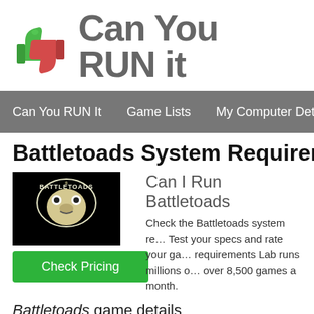[Figure (logo): Can You RUN It website logo with thumbs up (green) and thumbs down (red) icons and site title text]
Can You RUN It   Game Lists   My Computer Details
Battletoads System Requirem…
[Figure (illustration): Battletoads game cover image — white cartoon frog logo on black background]
Can I Run Battletoads
Check the Battletoads system re… Test your specs and rate your ga… requirements Lab runs millions o… over 8,500 games a month.
Check Pricing
Battletoads game details
The absolute Classic beat em up amphibian due from…